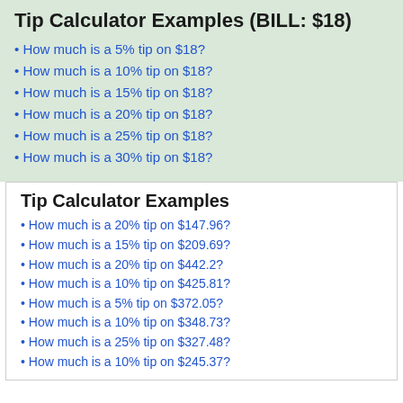Tip Calculator Examples (BILL: $18)
How much is a 5% tip on $18?
How much is a 10% tip on $18?
How much is a 15% tip on $18?
How much is a 20% tip on $18?
How much is a 25% tip on $18?
How much is a 30% tip on $18?
Tip Calculator Examples
How much is a 20% tip on $147.96?
How much is a 15% tip on $209.69?
How much is a 20% tip on $442.2?
How much is a 10% tip on $425.81?
How much is a 5% tip on $372.05?
How much is a 10% tip on $348.73?
How much is a 25% tip on $327.48?
How much is a 10% tip on $245.37?